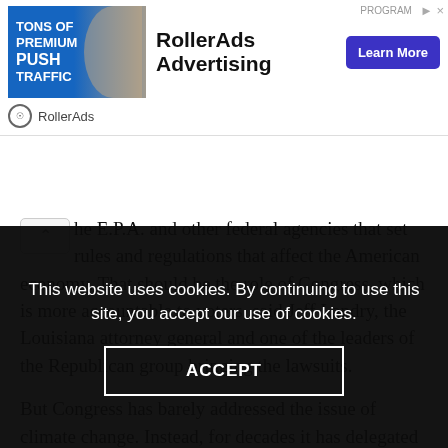[Figure (other): RollerAds advertising banner with image of woman, blue background with 'TONS OF PREMIUM PUSH TRAFFIC' text, 'RollerAds Advertising' headline, and 'Learn More' button]
he E.P.A. and other federal agencies that set rules and regulations that affect the American economy. That should be the role of Congress, which is more accountable to voters, said Jeff Landry, the Louisiana attorney general and one of the leaders of the Republican group bringing the lawsuits.
But Congress has barely addressed the issue of climate change. Instead, for decades it has delegated authority to the agencies because it lacks the expertise possessed by the specialists who write complicated rules and regulations and who can respond
This website uses cookies. By continuing to use this site, you accept our use of cookies.
ACCEPT